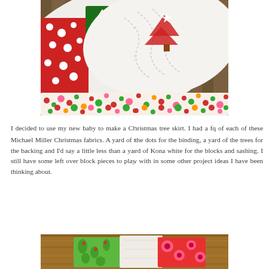[Figure (photo): Close-up photo of a colorful Christmas quilt folded and draped against a wooden fence background. The quilt features red, green, pink and white Christmas fabrics with polka dots and tree patterns, with visible quilting stitches.]
I decided to use my new baby to make a Christmas tree skirt. I had a fq of each of these Michael Miller Christmas fabrics. A yard of the dots for the binding, a yard of the trees for the backing and I'd say a little less than a yard of Kona white for the blocks and sashing. I still have some left over block pieces to play with in some other project ideas I have been thinking about.
[Figure (photo): Partial photo showing colorful Christmas quilt fabrics with green, red and floral patterns laid on a wooden surface.]